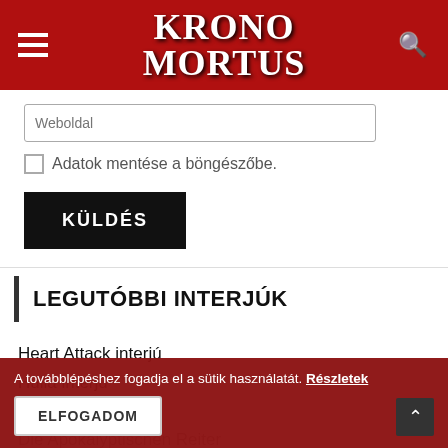Krono Mortus
Weboldal
Adatok mentése a böngészőbe.
KÜLDÉS
LEGUTÓBBI INTERJÚK
Heart Attack interjú
Hulla interjú
Deathwhite interjú
Die Apokalyptischen Reiter
Esperfall interjú
A továbblépéshez fogadja el a sütik használatát. Részletek
ELFOGADOM